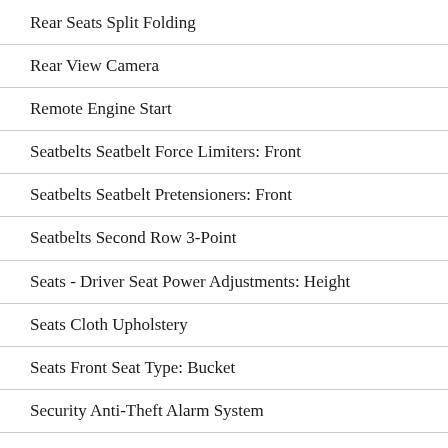Rear Seats Split Folding
Rear View Camera
Remote Engine Start
Seatbelts Seatbelt Force Limiters: Front
Seatbelts Seatbelt Pretensioners: Front
Seatbelts Second Row 3-Point
Seats - Driver Seat Power Adjustments: Height
Seats Cloth Upholstery
Seats Front Seat Type: Bucket
Security Anti-Theft Alarm System